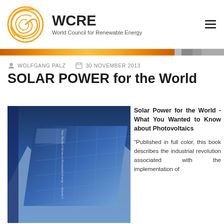WCRE World Council for Renewable Energy
WOLFGANG PALZ   30 NOVEMBER 2013
SOLAR POWER for the World
[Figure (photo): Book cover photo showing solar panels on a building with mountains in the background. Book spine text reads 'Pan Stanford Series on Renewable Energy — Volume 4']
Solar Power for the World - What You Wanted to Know about Photovoltaics

"Published in full color, this book describes the industrial revolution associated with the implementation of